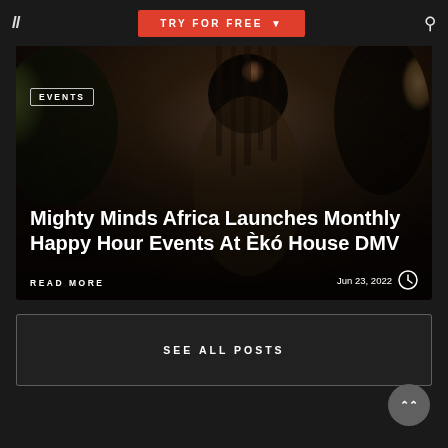TRY FOR FREE
[Figure (photo): Background photo of a woman with long braids at an event, with other people visible in the background, dark atmospheric lighting]
EVENTS
Mighty Minds Africa Launches Monthly Happy Hour Events At Èkó House DMV
READ MORE
Jun 23, 2022
SEE ALL POSTS